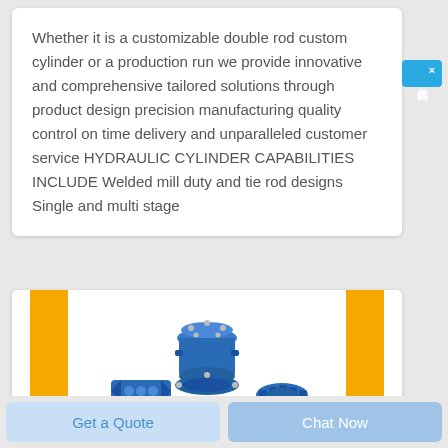Whether it is a customizable double rod custom cylinder or a production run we provide innovative and comprehensive tailored solutions through product design precision manufacturing quality control on time delivery and unparalleled customer service HYDRAULIC CYLINDER CAPABILITIES INCLUDE Welded mill duty and tie rod designs Single and multi stage
[Figure (photo): Industrial hydraulic or pneumatic components including a blue multi-port valve/fitting assembly in the center, flanked by yellow vertical bars on either side, with additional blue mechanical components visible at the bottom left and right of the image.]
Get a Quote
Chat Now